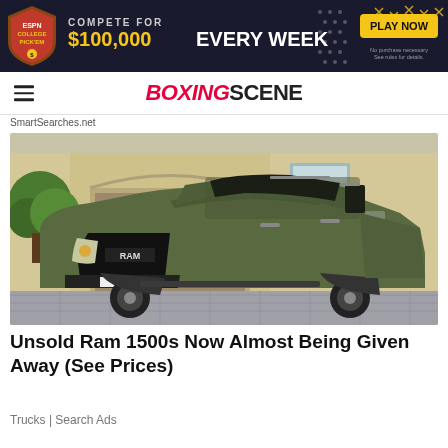[Figure (infographic): ESPN College Pick'em advertisement banner: Compete for $100,000 Every Week with Play Now button]
BOXINGSCENE
SmartSearches.net
[Figure (photo): Matte olive green RAM 1500 TRX pickup truck parked in front of a beige building with a tree in background]
Unsold Ram 1500s Now Almost Being Given Away (See Prices)
Trucks | Search Ads